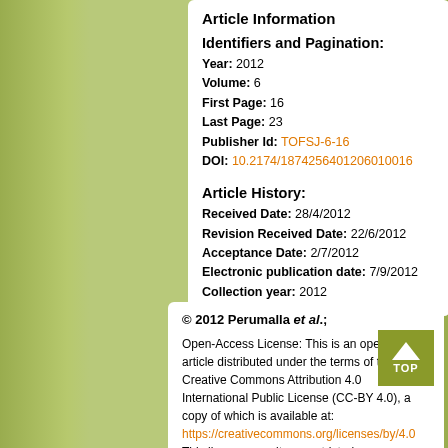Article Information
Identifiers and Pagination:
Year: 2012
Volume: 6
First Page: 16
Last Page: 23
Publisher Id: TOFSJ-6-16
DOI: 10.2174/1874256401206010016
Article History:
Received Date: 28/4/2012
Revision Received Date: 22/6/2012
Acceptance Date: 2/7/2012
Electronic publication date: 7/9/2012
Collection year: 2012
© 2012 Perumalla et al.;
Open-Access License: This is an open access article distributed under the terms of the Creative Commons Attribution 4.0 International Public License (CC-BY 4.0), a copy of which is available at: https://creativecommons.org/licenses/by/4.0 This license permits unrestricted use,